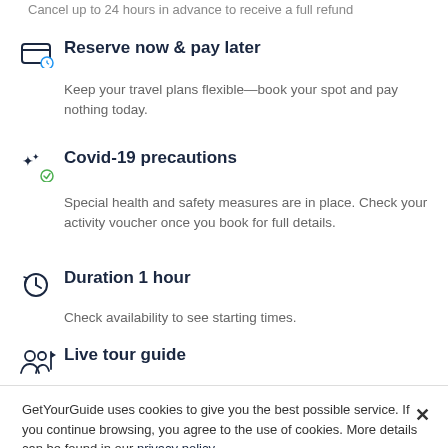Cancel up to 24 hours in advance to receive a full refund
Reserve now & pay later
Keep your travel plans flexible—book your spot and pay nothing today.
Covid-19 precautions
Special health and safety measures are in place. Check your activity voucher once you book for full details.
Duration 1 hour
Check availability to see starting times.
Live tour guide
GetYourGuide uses cookies to give you the best possible service. If you continue browsing, you agree to the use of cookies. More details can be found in our privacy policy.